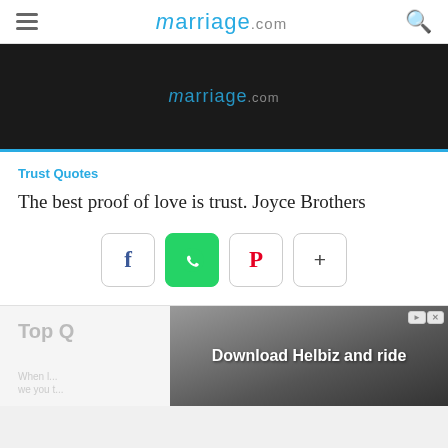marriage.com
[Figure (screenshot): Dark banner with marriage.com logo in blue on black background, with a cyan/blue border at the bottom]
Trust Quotes
The best proof of love is trust. Joyce Brothers
[Figure (infographic): Share buttons: Facebook (f), WhatsApp (green phone), Pinterest (P), and More (+)]
Top Q...
[Figure (photo): Advertisement overlay showing a scooter/electric bike with text 'Download Helbiz and ride']